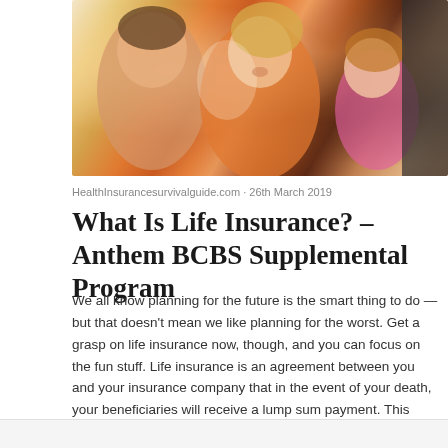[Figure (photo): Family photo showing parents and a young child smiling, warm orange tones]
HealthInsurancesurvivalguide.com · 26th March 2019
What Is Life Insurance? – Anthem BCBS Supplemental Program
We all know planning for the future is the smart thing to do — but that doesn't mean we like planning for the worst. Get a grasp on life insurance now, though, and you can focus on the fun stuff. Life insurance is an agreement between you and your insurance company that in the event of your death, your beneficiaries will receive a lump sum payment. This payment comes from the monthly premiums you've paid throughout the term of your contract with your insurance company. There are a few types of